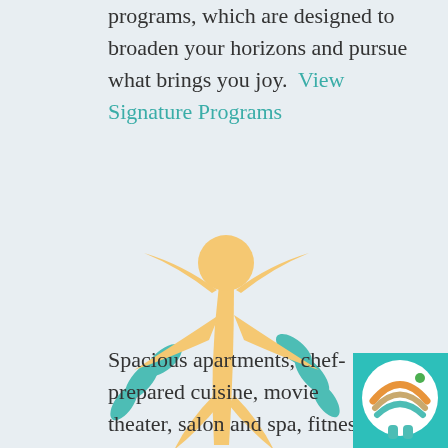programs, which are designed to broaden your horizons and pursue what brings you joy. View Signature Programs
[Figure (illustration): Colorful illustration of a joyful human figure with arms raised, surrounded by teal and golden/orange splash/leaf shapes, representing vitality and wellness]
Spacious apartments, chef-prepared cuisine, movie theater, salon and spa, fitness center, walking paths and dog park are just a few of the...
[Figure (logo): Circular logo with colorful layered arcs (orange, tan, teal) resembling a sunset or landscape, with a small green dot, on a teal/cyan background square in the bottom right corner]